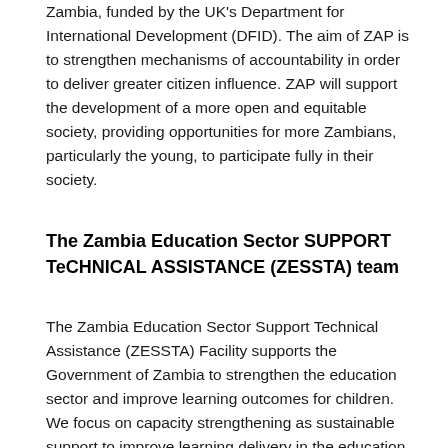Zambia, funded by the UK's Department for International Development (DFID). The aim of ZAP is to strengthen mechanisms of accountability in order to deliver greater citizen influence. ZAP will support the development of a more open and equitable society, providing opportunities for more Zambians, particularly the young, to participate fully in their society.
The Zambia Education Sector SUPPORT TeCHNICAL ASSISTANCE (ZESSTA) team
The Zambia Education Sector Support Technical Assistance (ZESSTA) Facility supports the Government of Zambia to strengthen the education sector and improve learning outcomes for children. We focus on capacity strengthening as sustainable support to improve learning delivery in the education sector. O...